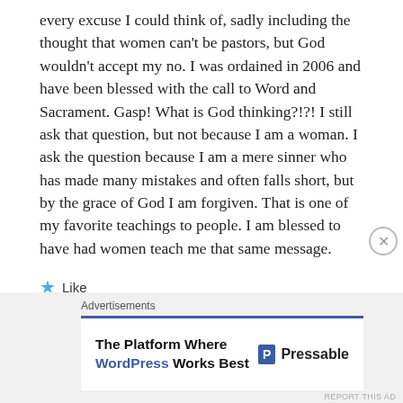every excuse I could think of, sadly including the thought that women can't be pastors, but God wouldn't accept my no. I was ordained in 2006 and have been blessed with the call to Word and Sacrament. Gasp! What is God thinking?!?! I still ask that question, but not because I am a woman. I ask the question because I am a mere sinner who has made many mistakes and often falls short, but by the grace of God I am forgiven. That is one of my favorite teachings to people. I am blessed to have had women teach me that same message.
★ Like
↪ REPLY
[Figure (screenshot): Advertisement banner: 'The Platform Where WordPress Works Best' with Pressable logo on right, blue top border, on light gray background. Close button (×) in circle top-right. 'REPORT THIS AD' text bottom right.]